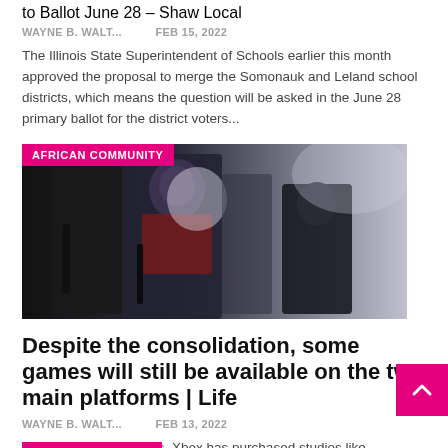to Ballot June 28 – Shaw Local
WAYNE B. WALT...   Feb 15, 2022
The Illinois State Superintendent of Schools earlier this month approved the proposal to merge the Somonauk and Leland school districts, which means the question will be asked in the June 28 primary ballot for the district voters...
[Figure (photo): Gaming characters action image with 'AFRICAN COMMUNITY' badge overlay in pink]
Despite the consolidation, some games will still be available on the two main platforms | Life
WAYNE B. WALT...   Feb 13, 2022
Over the past few years, Xbox has purchased studios like Bethesda and Activision to name a few.Sony has just...